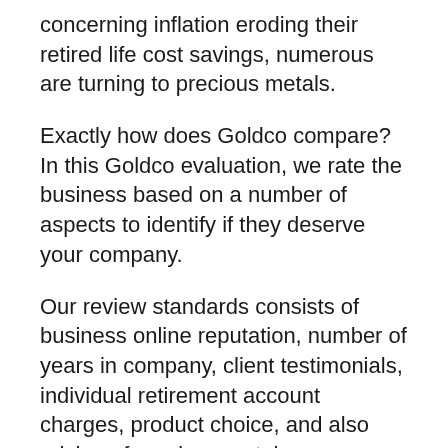concerning inflation eroding their retired life cost savings, numerous are turning to precious metals.
Exactly how does Goldco compare? In this Goldco evaluation, we rate the business based on a number of aspects to identify if they deserve your company.
Our review standards consists of business online reputation, number of years in company, client testimonials, individual retirement account charges, product choice, and also pricing of precious metals.
Right here’s the highlights from our Goldco testimonial: